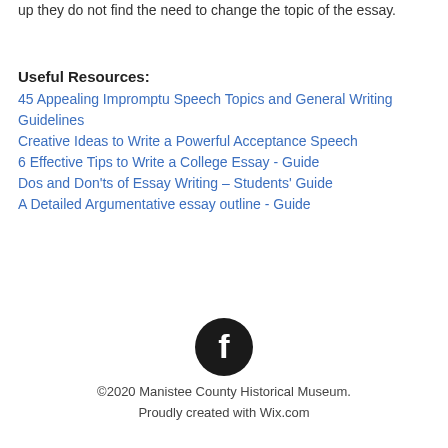up they do not find the need to change the topic of the essay.
Useful Resources:
45 Appealing Impromptu Speech Topics and General Writing Guidelines
Creative Ideas to Write a Powerful Acceptance Speech
6 Effective Tips to Write a College Essay - Guide
Dos and Don'ts of Essay Writing – Students' Guide
A Detailed Argumentative essay outline - Guide
[Figure (logo): Facebook logo icon — white f on black circle]
©2020 Manistee County Historical Museum.
Proudly created with Wix.com